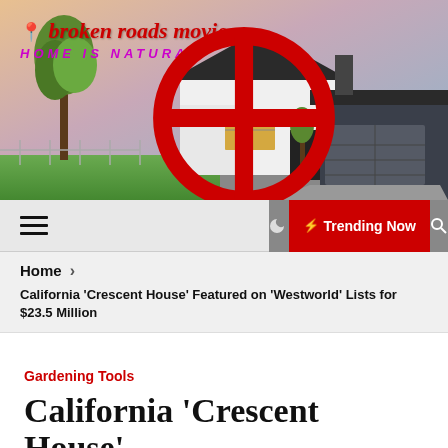[Figure (photo): Hero image of a modern white and dark gray house with garage, trees in background with sunset sky. Logo overlay reads 'broken roads movie' in red italic text and 'HOME IS NATURAL' in purple italic text.]
Navigation bar with hamburger menu, moon icon, Trending Now button (red), search icon
Home >
California ‘Crescent House’ Featured on ‘Westworld’ Lists for $23.5 Million
Gardening Tools
California ‘Crescent House’ Featured on ‘Westworld’